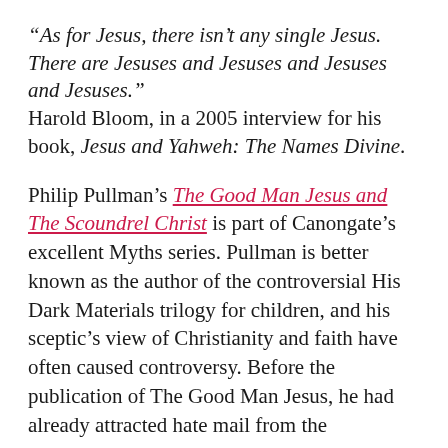“As for Jesus, there isn’t any single Jesus. There are Jesuses and Jesuses and Jesuses and Jesuses.” Harold Bloom, in a 2005 interview for his book, Jesus and Yahweh: The Names Divine.
Philip Pullman’s The Good Man Jesus and The Scoundrel Christ is part of Canongate’s excellent Myths series. Pullman is better known as the author of the controversial His Dark Materials trilogy for children, and his sceptic’s view of Christianity and faith have often caused controversy. Before the publication of The Good Man Jesus, he had already attracted hate mail from the